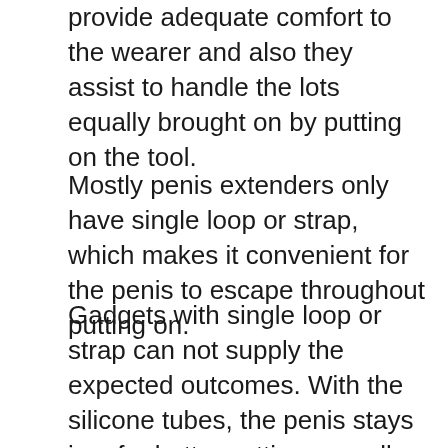provide adequate comfort to the wearer and also they assist to handle the lots equally brought on by putting on the tool.
Mostly penis extenders only have single loop or strap, which makes it convenient for the penis to escape throughout putting on.
Gadgets with single loop or strap can not supply the expected outcomes. With the silicone tubes, the penis stays in a far better setting as well as the tension is maintained correctly. These functions make the Quick Extender Pro the very best gadget to obtain maximum gains. The gadget holds 3 features that make it stand out; the duration of use, establishing precision and also level of tension. The DSS system of Quick Extender